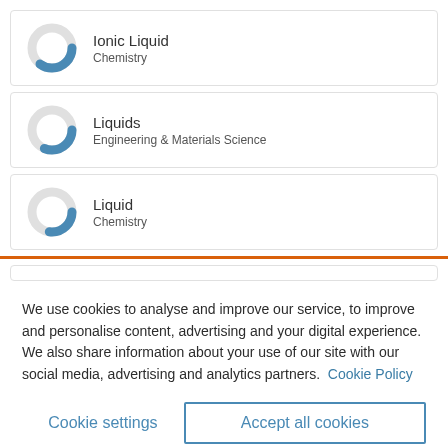[Figure (donut-chart): Partial donut chart icon for Ionic Liquid item, blue filled approximately 60%]
Ionic Liquid
Chemistry
[Figure (donut-chart): Partial donut chart icon for Liquids item, blue filled approximately 55%]
Liquids
Engineering & Materials Science
[Figure (donut-chart): Partial donut chart icon for Liquid item, blue filled approximately 50%]
Liquid
Chemistry
We use cookies to analyse and improve our service, to improve and personalise content, advertising and your digital experience. We also share information about your use of our site with our social media, advertising and analytics partners.  Cookie Policy
Cookie settings
Accept all cookies